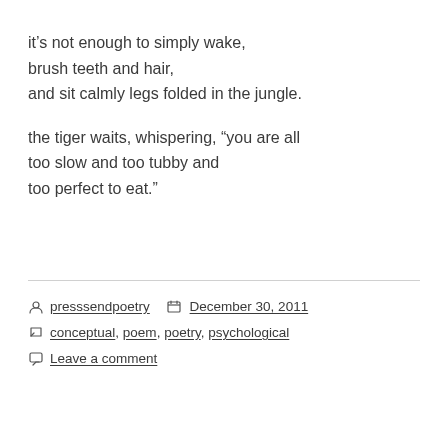it's not enough to simply wake,
brush teeth and hair,
and sit calmly legs folded in the jungle.

the tiger waits, whispering, “you are all
too slow and too tubby and
too perfect to eat.”
presssendpoetry  December 30, 2011  conceptual, poem, poetry, psychological  Leave a comment